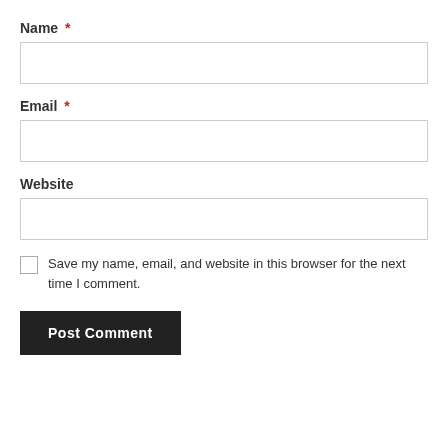Name *
[Figure (other): Name input text field (empty, with border)]
Email *
[Figure (other): Email input text field (empty, with border)]
Website
[Figure (other): Website input text field (empty, with border)]
Save my name, email, and website in this browser for the next time I comment.
Post Comment